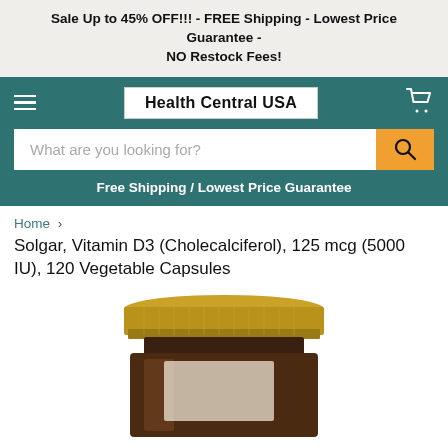Sale Up to 45% OFF!!! - FREE Shipping - Lowest Price Guarantee - NO Restock Fees!
[Figure (logo): Health Central USA website header with hamburger menu, logo box, cart icon, search bar, and Free Shipping / Lowest Price Guarantee text on teal background]
Home > Solgar, Vitamin D3 (Cholecalciferol), 125 mcg (5000 IU), 120 Vegetable Capsules
[Figure (photo): Close-up photo of a dark amber glass supplement bottle with a gold metal screw-top lid, partially cropped showing the top portion of the bottle]